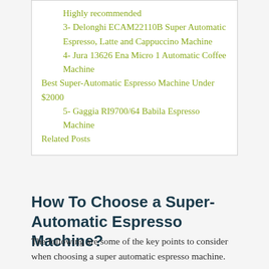Highly recommended
3- Delonghi ECAM22110B Super Automatic Espresso, Latte and Cappuccino Machine
4- Jura 13626 Ena Micro 1 Automatic Coffee Machine
Best Super-Automatic Espresso Machine Under $2000
5- Gaggia RI9700/64 Babila Espresso Machine
Related Posts
How To Choose a Super-Automatic Espresso Machine?
The following are some of the key points to consider when choosing a super automatic espresso machine.